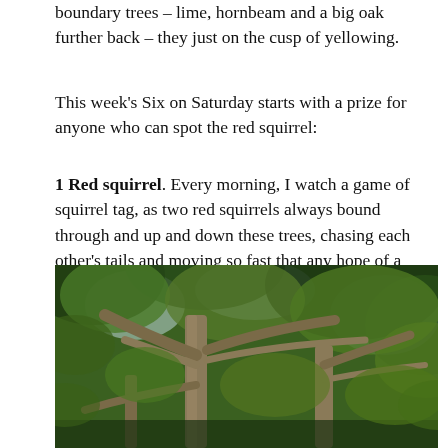boundary trees – lime, hornbeam and a big oak further back – they just on the cusp of yellowing.
This week's Six on Saturday starts with a prize for anyone who can spot the red squirrel:
1 Red squirrel. Every morning, I watch a game of squirrel tag, as two red squirrels always bound through and up and down these trees, chasing each other's tails and moving so fast that any hope of a decent photo is doomed. But it's so nice to see them scampering around.
[Figure (photo): Photograph looking up into large deciduous trees with green leafy canopy, thick trunks and winding branches visible against a bright sky.]